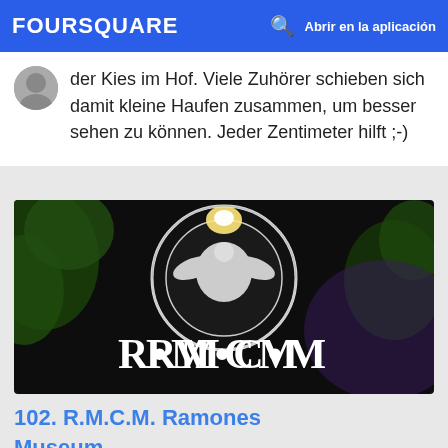FOURSQUARE  Abrir en la aplicación
der Kies im Hof. Viele Zuhörer schieben sich damit kleine Haufen zusammen, um besser sehen zu können. Jeder Zentimeter hilft ;-)
[Figure (photo): Night photo of RMCM Ramones Museum sign with circular eagle seal logo lit up against dark background with foliage]
102. R.M.C.M. Ramones Museum